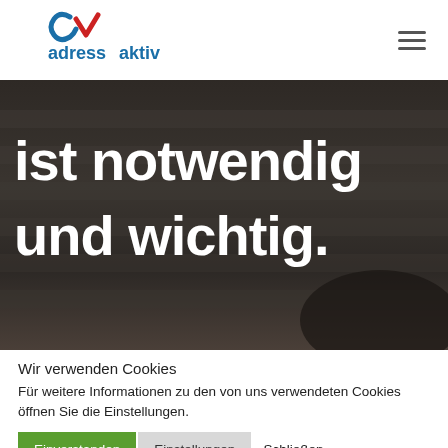[Figure (logo): adress aktiv logo with stylized 'av' mark in blue and red above the text 'adress aktiv' in blue]
[Figure (photo): Dark blurred background photo (appears to show blinds or slats) with large white text overlay reading 'ist notwendig und wichtig.']
Wir verwenden Cookies
Für weitere Informationen zu den von uns verwendeten Cookies öffnen Sie die Einstellungen.
Einverstanden  Einstellungen  Schließen